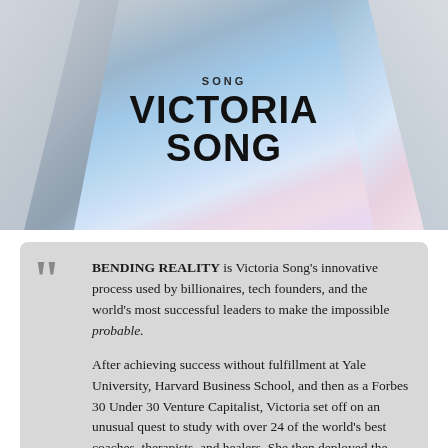[Figure (illustration): Book cover showing 'VICTORIA SONG' as the author name in large bold sans-serif font, with a stylized converging perspective design in light grey and blue/purple tones suggesting an open book or gateway to sky.]
BENDING REALITY is Victoria Song's innovative process used by billionaires, tech founders, and the world's most successful leaders to make the impossible probable.

After achieving success without fulfillment at Yale University, Harvard Business School, and then as a Forbes 30 Under 30 Venture Capitalist, Victoria set off on an unusual quest to study with over 24 of the world's best coaches, therapists, and healers. She then deployed the skills and tools she'd learned with a diverse group of the world's highest performers. They built collectively through the tools and...